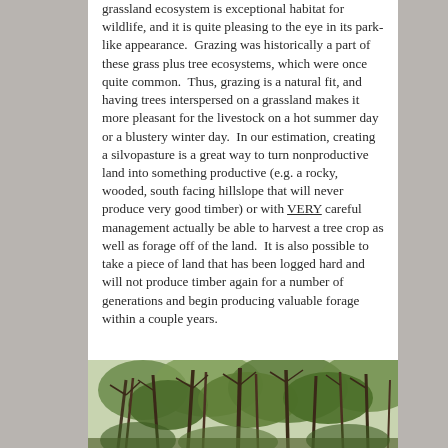grassland ecosystem is exceptional habitat for wildlife, and it is quite pleasing to the eye in its park-like appearance.  Grazing was historically a part of these grass plus tree ecosystems, which were once quite common.  Thus, grazing is a natural fit, and having trees interspersed on a grassland makes it more pleasant for the livestock on a hot summer day or a blustery winter day.  In our estimation, creating a silvopasture is a great way to turn nonproductive land into something productive (e.g. a rocky, wooded, south facing hillslope that will never produce very good timber) or with VERY careful management actually be able to harvest a tree crop as well as forage off of the land.  It is also possible to take a piece of land that has been logged hard and will not produce timber again for a number of generations and begin producing valuable forage within a couple years.
[Figure (photo): A photograph of a forest/woodland scene with trees and green foliage, typical of a silvopasture or wooded grassland environment.]